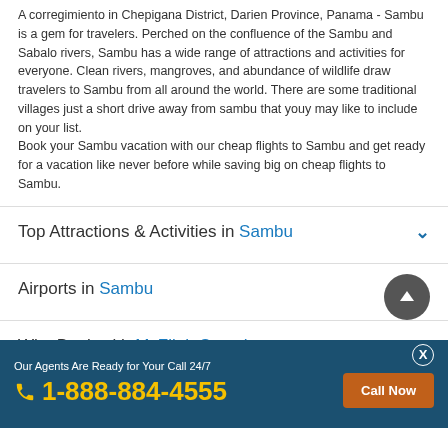A corregimiento in Chepigana District, Darien Province, Panama - Sambu is a gem for travelers. Perched on the confluence of the Sambu and Sabalo rivers, Sambu has a wide range of attractions and activities for everyone. Clean rivers, mangroves, and abundance of wildlife draw travelers to Sambu from all around the world. There are some traditional villages just a short drive away from sambu that youy may like to include on your list.
Book your Sambu vacation with our cheap flights to Sambu and get ready for a vacation like never before while saving big on cheap flights to Sambu.
Top Attractions & Activities in Sambu
Airports in Sambu
Why Book with MyFlightSearch
Make Your Travel Easier With Our App
Our Agents Are Ready for Your Call 24/7
1-888-884-4555
Call Now